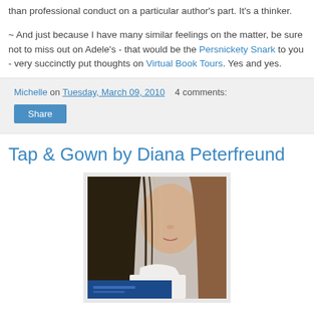than professional conduct on a particular author's part. It's a thinker.
~ And just because I have many similar feelings on the matter, be sure not to miss out on Adele's - that would be the Persnickety Snark to you - very succinctly put thoughts on Virtual Book Tours. Yes and yes.
Michelle on Tuesday, March 09, 2010   4 comments:
Share
Tap & Gown by Diana Peterfreund
[Figure (photo): Book cover of Tap & Gown by Diana Peterfreund showing a young woman with long brown hair wearing a white top, with a blue band at the bottom of the cover.]